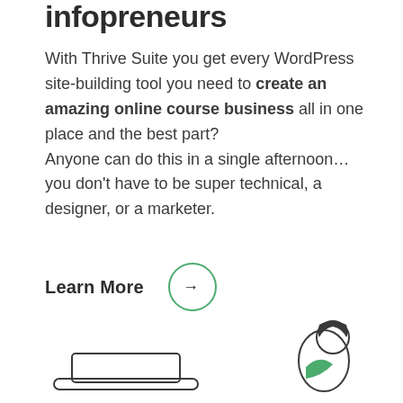infopreneurs
With Thrive Suite you get every WordPress site-building tool you need to create an amazing online course business all in one place and the best part? Anyone can do this in a single afternoon… you don't have to be super technical, a designer, or a marketer.
Learn More →
[Figure (illustration): Line illustration of a person sitting at a laptop, partially visible at the bottom of the page, with a green accent on their clothing.]